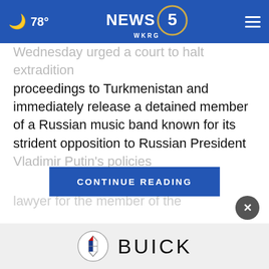78° NEWS 5 WKRG
Wednesday urged a court to halt extradition proceedings to Turkmenistan and immediately release a detained member of a Russian music band known for its strident opposition to Russian President Vladimir Putin's policies
CONTINUE READING
lawyer for the ... member of the
[Figure (logo): Buick logo with shield emblem and BUICK text]
BUICK advertisement